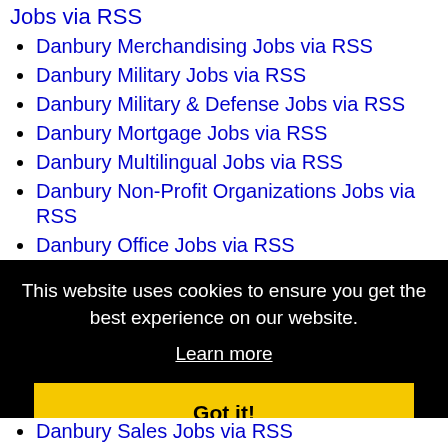Jobs via RSS
Danbury Merchandising Jobs via RSS
Danbury Military Jobs via RSS
Danbury Military & Defense Jobs via RSS
Danbury Mortgage Jobs via RSS
Danbury Multilingual Jobs via RSS
Danbury Non-Profit Organizations Jobs via RSS
Danbury Office Jobs via RSS
Danbury Operations, Logistics & Warehousing Jobs via RSS
Danbury Other Jobs via RSS
Danbury Other Jobs via RSS
Danbury Other Jobs via RSS
[Figure (screenshot): Cookie consent overlay with black background: 'This website uses cookies to ensure you get the best experience on our website.' with a 'Learn more' link and a yellow 'Got it!' button.]
Danbury Sales Jobs via RSS